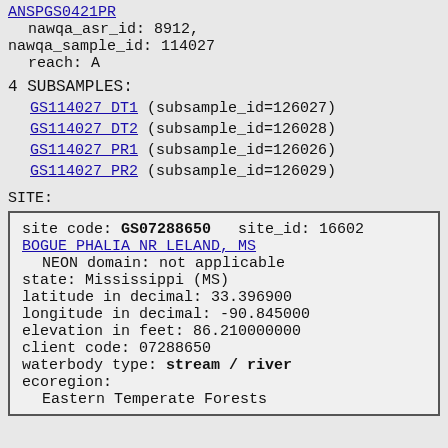ANSPGS0421PR
nawqa_asr_id: 8912,
nawqa_sample_id: 114027
reach: A
4 SUBSAMPLES:
GS114027 DT1 (subsample_id=126027)
GS114027 DT2 (subsample_id=126028)
GS114027 PR1 (subsample_id=126026)
GS114027 PR2 (subsample_id=126029)
SITE:
site code: GS07288650   site_id: 16602
BOGUE PHALIA NR LELAND, MS
NEON domain: not applicable
state: Mississippi (MS)
latitude in decimal: 33.396900
longitude in decimal: -90.845000
elevation in feet: 86.210000000
client code: 07288650
waterbody type: stream / river
ecoregion:
Eastern Temperate Forests